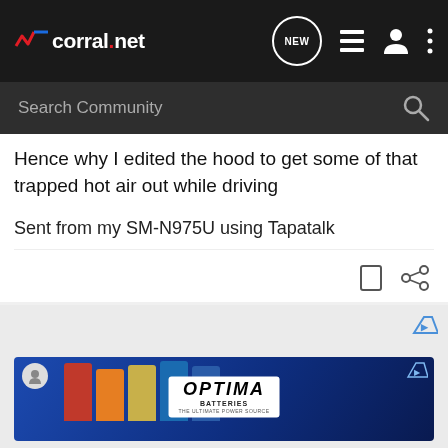corral.net
Hence why I edited the hood to get some of that trapped hot air out while driving
Sent from my SM-N975U using Tapatalk
[Figure (screenshot): Ad area with Optima Batteries advertisement banner at bottom]
Advertisement